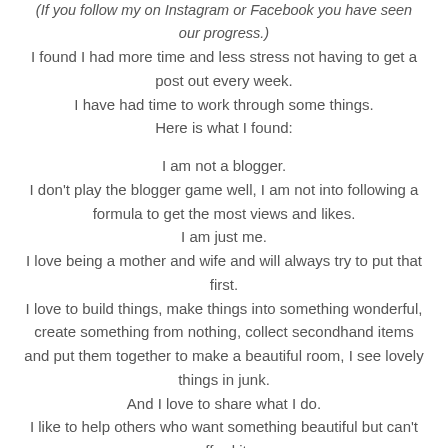(If you follow my on Instagram or Facebook you have seen our progress.) I found I had more time and less stress not having to get a post out every week. I have had time to work through some things. Here is what I found: I am not a blogger. I don't play the blogger game well, I am not into following a formula to get the most views and likes. I am just me. I love being a mother and wife and will always try to put that first. I love to build things, make things into something wonderful, create something from nothing, collect secondhand items and put them together to make a beautiful room, I see lovely things in junk. And I love to share what I do. I like to help others who want something beautiful but can't afford it. I am never going to be a huge blog, and that's OK. Instagram is an easier less time consuming way to share.